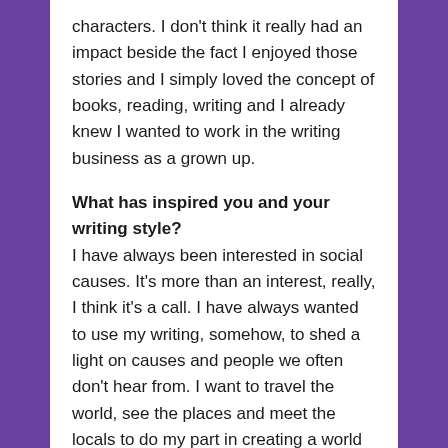characters. I don't think it really had an impact beside the fact I enjoyed those stories and I simply loved the concept of books, reading, writing and I already knew I wanted to work in the writing business as a grown up.
What has inspired you and your writing style?
I have always been interested in social causes. It's more than an interest, really, I think it's a call. I have always wanted to use my writing, somehow, to shed a light on causes and people we often don't hear from. I want to travel the world, see the places and meet the locals to do my part in creating a world based on mutual understanding